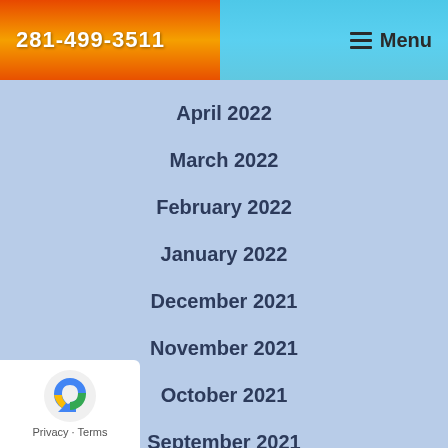281-499-3511  ☰ Menu
April 2022
March 2022
February 2022
January 2022
December 2021
November 2021
October 2021
September 2021
August 2021
July 2021
June 2021
May 2021
Privacy · Terms